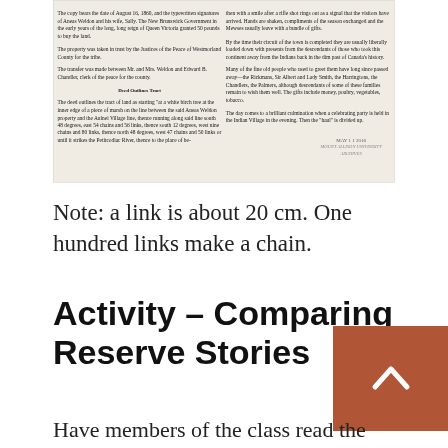[Figure (photo): Scanned newspaper clipping with two columns of text about a deed/land transfer and Indian village, with a date stamp MAY 11 2016 and a library stamp visible]
Note: a link is about 20 cm. One hundred links make a chain.
Activity – Comparing Reserve Stories
Have members of the class read the two